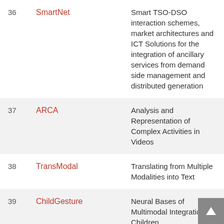| # | Name | Description |
| --- | --- | --- |
| 36 | SmartNet | Smart TSO-DSO interaction schemes, market architectures and ICT Solutions for the integration of ancillary services from demand side management and distributed generation |
| 37 | ARCA | Analysis and Representation of Complex Activities in Videos |
| 38 | TransModal | Translating from Multiple Modalities into Text |
| 39 | ChildGesture | Neural Bases of Multimodal Integration in Children |